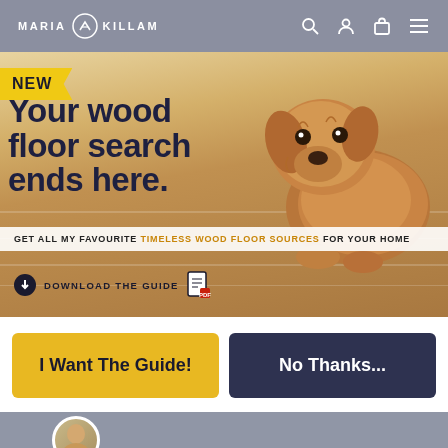MARIA KILLAM
[Figure (photo): Promotional banner featuring a fluffy golden/red doodle puppy lying on a light wood floor. 'NEW' ribbon in yellow on top left. Large bold text: 'Your wood floor search ends here.' Strip below reads: 'GET ALL MY FAVOURITE TIMELESS WOOD FLOOR SOURCES FOR YOUR HOME'. Download the guide button below.]
I Want The Guide!
No Thanks...